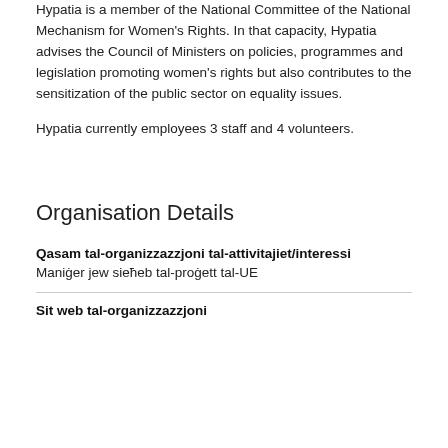Hypatia is a member of the National Committee of the National Mechanism for Women's Rights. In that capacity, Hypatia advises the Council of Ministers on policies, programmes and legislation promoting women's rights but also contributes to the sensitization of the public sector on equality issues.
Hypatia currently employees 3 staff and 4 volunteers.
Organisation Details
Qasam tal-organizzazzjoni tal-attivitajiet/interessi
Maniġer jew sieħeb tal-proġett tal-UE
Sit web tal-organizzazzjoni